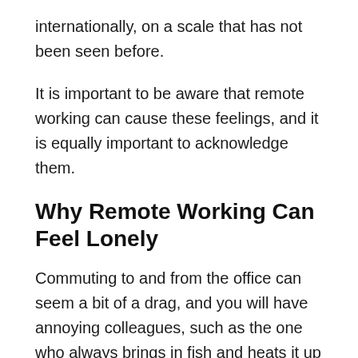internationally, on a scale that has not been seen before.
It is important to be aware that remote working can cause these feelings, and it is equally important to acknowledge them.
Why Remote Working Can Feel Lonely
Commuting to and from the office can seem a bit of a drag, and you will have annoying colleagues, such as the one who always brings in fish and heats it up in the microwave, or the one who is always fundraising for something and a collecting tin is being rattled under your nose.